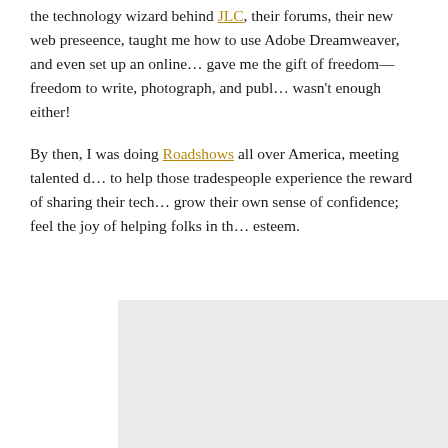the technology wizard behind JLC, their forums, their new web presence, taught me how to use Adobe Dreamweaver, and even set up an online... gave me the gift of freedom—freedom to write, photograph, and publ... wasn't enough either!

By then, I was doing Roadshows all over America, meeting talented d... to help those tradespeople experience the reward of sharing their tech... grow their own sense of confidence; feel the joy of helping folks in th... esteem.
[Figure (photo): A light gray rectangular image placeholder occupying the lower right portion of the page.]